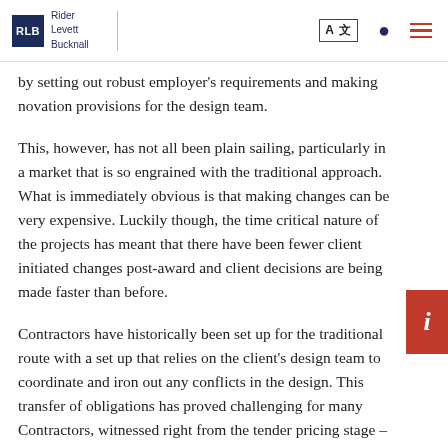Rider Levett Bucknall
by setting out robust employer's requirements and making novation provisions for the design team.
This, however, has not all been plain sailing, particularly in a market that is so engrained with the traditional approach. What is immediately obvious is that making changes can be very expensive. Luckily though, the time critical nature of the projects has meant that there have been fewer client initiated changes post-award and client decisions are being made faster than before.
Contractors have historically been set up for the traditional route with a set up that relies on the client's design team to coordinate and iron out any conflicts in the design. This transfer of obligations has proved challenging for many Contractors, witnessed right from the tender pricing stage – previously being used to pricing complete